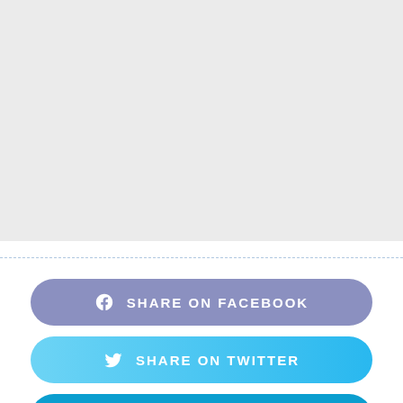[Figure (other): Gray placeholder area occupying the top portion of the page]
SHARE ON FACEBOOK
SHARE ON TWITTER
SHARE ON LINKEDIN